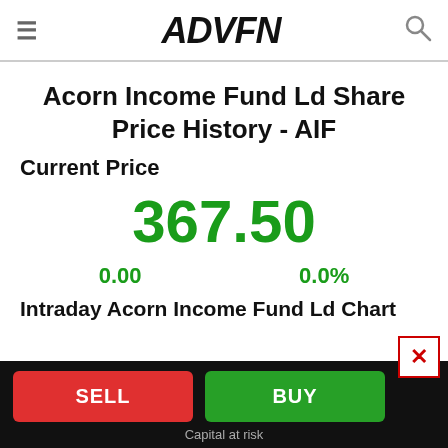ADVFN
Acorn Income Fund Ld Share Price History - AIF
Current Price
367.50
0.00    0.0%
Intraday Acorn Income Fund Ld Chart
SELL  BUY
Capital at risk